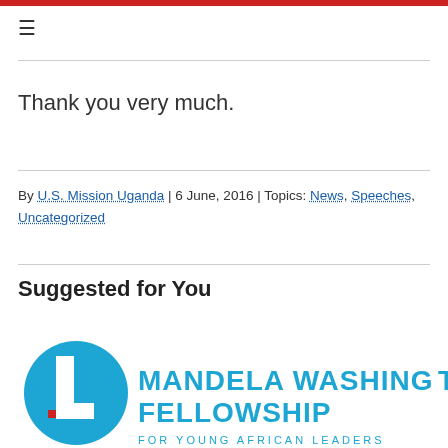≡
Thank you very much.
By U.S. Mission Uganda | 6 June, 2016 | Topics: News, Speeches, Uncategorized
Suggested for You
[Figure (logo): Mandela Washington Fellowship for Young African Leaders logo — blue circular emblem with a stylized figure and bold cyan text reading MANDELA WASHINGTON FELLOWSHIP FOR YOUNG AFRICAN LEADERS]